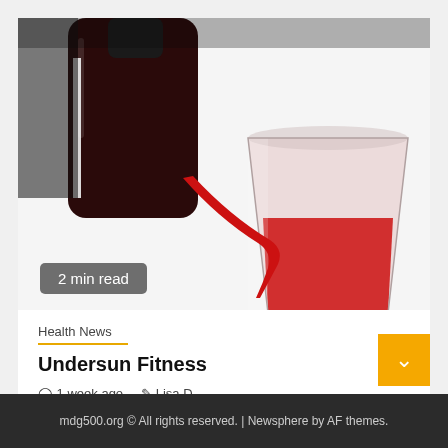[Figure (photo): A dark bottle pouring red liquid into a clear plastic measuring cup, against a white background.]
2 min read
Health News
Undersun Fitness
1 week ago   Lisa D
mdg500.org © All rights reserved. | Newsphere by AF themes.